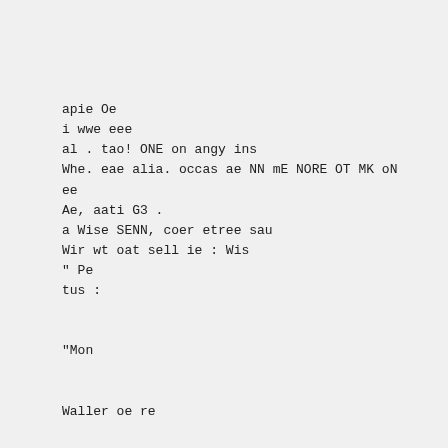apie Oe
i wwe eee
al . tao! ONE on angy ins
Whe. eae alia. occas ae NN mE NORE OT MK oN
ee
Ae, aati G3 .
a Wise SENN, coer etree sau
Wir wt oat sell ie : Wis
“ Pe
tus :
“Mon
Waller oe re
uty Mu MS aye